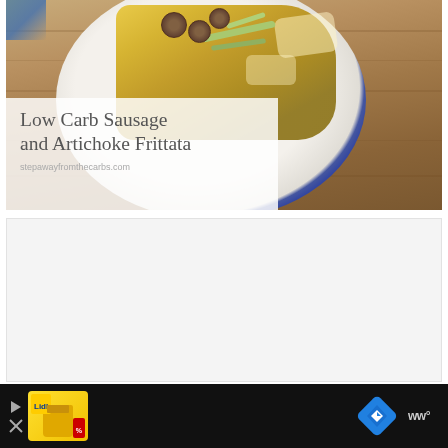[Figure (photo): Food photo showing a slice of frittata with sausage coins and zucchini on a white plate with blue rim, placed on a wooden surface. A white semi-transparent overlay box in the lower-left contains the recipe title 'Low Carb Sausage and Artichoke Frittata' and the website URL 'stepawayfromthecarbs.com'.]
[Figure (other): A light gray empty content area below the photo, likely a loading advertisement or blank content block.]
[Figure (other): Black advertisement bar at the bottom of the page containing a Lidl grocery ad thumbnail on the left, a blue diamond-shaped navigation/turn icon in the middle-right, and a Waze-style logo on the far right. A play button and close X button are visible on the left side.]